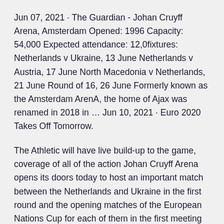Jun 07, 2021 · The Guardian - Johan Cruyff Arena, Amsterdam Opened: 1996 Capacity: 54,000 Expected attendance: 12,0fixtures: Netherlands v Ukraine, 13 June Netherlands v Austria, 17 June North Macedonia v Netherlands, 21 June Round of 16, 26 June Formerly known as the Amsterdam ArenA, the home of Ajax was renamed in 2018 in ... Jun 10, 2021 · Euro 2020 Takes Off Tomorrow.
The Athletic will have live build-up to the game, coverage of all of the action Johan Cruyff Arena opens its doors today to host an important match between the Netherlands and Ukraine in the first round and the opening matches of the European Nations Cup for each of them in the first meeting between them. him in the tournament, where he comes in the third group with each of the following teams Macedonia, Austria and